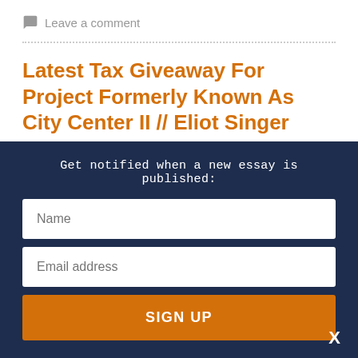Leave a comment
Latest Tax Giveaway For Project Formerly Known As City Center II // Eliot Singer
September 4, 2018
Get notified when a new essay is published:
Name
Email address
SIGN UP
X